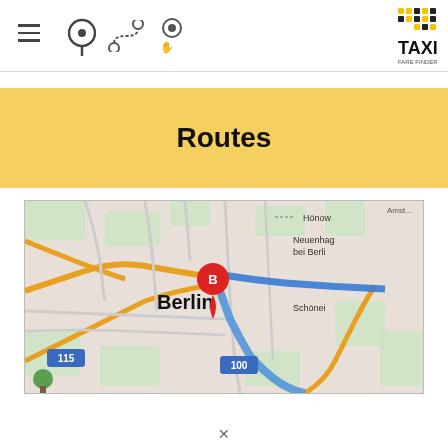Taxi Fare Finder app header with hamburger menu, location pin icon, route icon, hand icon, and Taxi Fare Finder logo
Routes
[Figure (map): Google Maps view showing Berlin city center with a red location marker labeled 'B', a blue route line heading east through the city, road labels '115' and '100', and place names including Hönow, Neuenhagen bei Berlin, Schöneiche bei Berlin.]